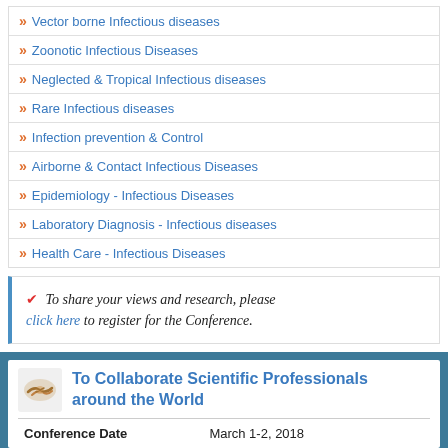» Vector borne Infectious diseases
» Zoonotic Infectious Diseases
» Neglected & Tropical Infectious diseases
» Rare Infectious diseases
» Infection prevention & Control
» Airborne & Contact Infectious Diseases
» Epidemiology - Infectious Diseases
» Laboratory Diagnosis - Infectious diseases
» Health Care - Infectious Diseases
✔ To share your views and research, please click here to register for the Conference.
To Collaborate Scientific Professionals around the World
| Conference Date | March 1-2, 2018 |
| --- | --- |